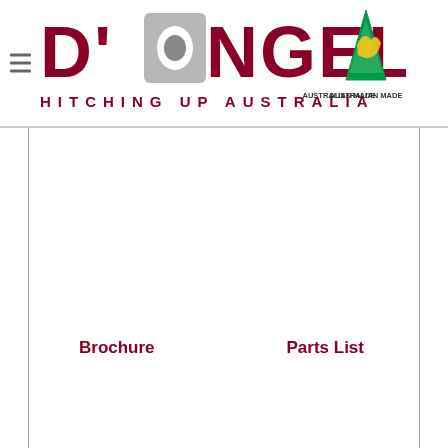D'Angelo Hitching Up Australia — Australian Made logo
Brochure
Parts List